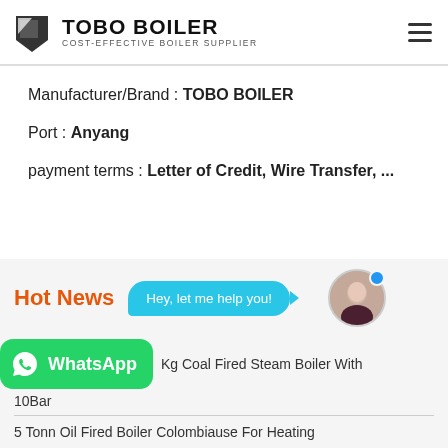TOBO BOILER — COST-EFFECTIVE BOILER SUPPLIER
Manufacturer/Brand : TOBO BOILER
Port : Anyang
payment terms : Letter of Credit, Wire Transfer, ...
Hot News
Hey, let me help you!
WhatsApp — Kg Coal Fired Steam Boiler With 10Bar
5 Tonn Oil Fired Boiler Colombiause For Heating